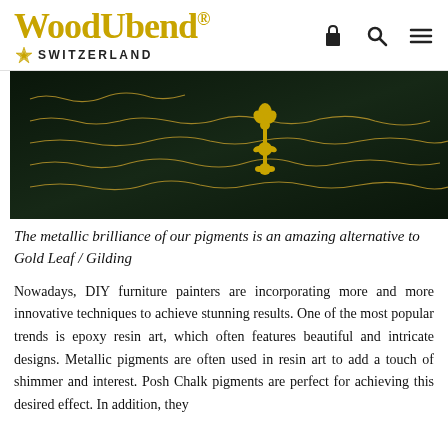WoodUbend. SWITZERLAND
[Figure (photo): Dark green background with cursive/handwriting script text, and a gold ornamental decorative piece (fleur-de-lis or similar) in the center]
The metallic brilliance of our pigments is an amazing alternative to Gold Leaf / Gilding
Nowadays, DIY furniture painters are incorporating more and more innovative techniques to achieve stunning results. One of the most popular trends is epoxy resin art, which often features beautiful and intricate designs. Metallic pigments are often used in resin art to add a touch of shimmer and interest. Posh Chalk pigments are perfect for achieving this desired effect. In addition, they